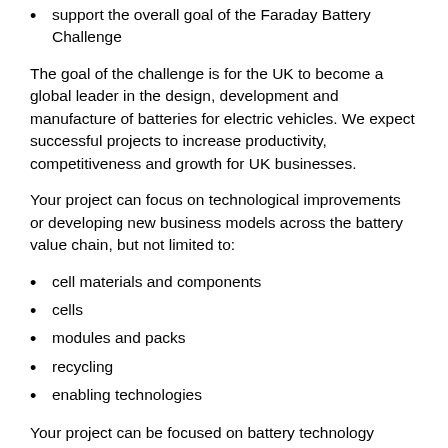support the overall goal of the Faraday Battery Challenge
The goal of the challenge is for the UK to become a global leader in the design, development and manufacture of batteries for electric vehicles. We expect successful projects to increase productivity, competitiveness and growth for UK businesses.
Your project can focus on technological improvements or developing new business models across the battery value chain, but not limited to:
cell materials and components
cells
modules and packs
recycling
enabling technologies
Your project can be focused on battery technology development for automotive applications and sectors outside automotive.
Potential sectors include: